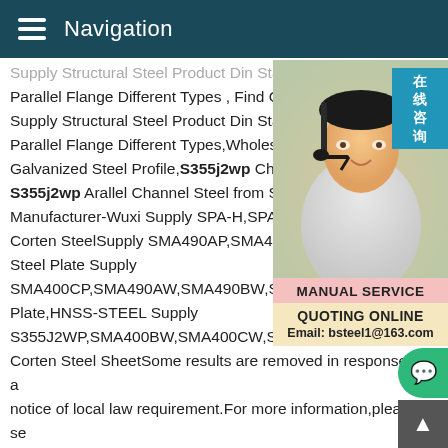Navigation
Supply Structural Steel Product Din Stand Parallel Flange Different Types , Find Com Supply Structural Steel Product Din Stand Parallel Flange Different Types,Wholesale Galvanized Steel Profile,S355j2wp Chan S355j2wp Arallel Channel Steel from Steel Manufacturer-Wuxi Supply SPA-H,SPA-C, Corten SteelSupply SMA490AP,SMA490B Steel Plate Supply SMA400CP,SMA490AW,SMA490BW,SMA Plate,HNSS-STEEL Supply S355J2WP,SMA400BW,SMA400CW,SMA400AP,SMA400BP Corten Steel SheetSome results are removed in response to a notice of local law requirement.For more information,please se here.Previous123456NextS355J2WP chemical details,S355J2 mechanicalWhen Nominal thickness of S355J2WP steel is les than 3 mm,its...
[Figure (photo): Customer service representative with headset, smiling, with Chinese text overlay reading 在线咨询 (Online Consultation) and a MANUAL SERVICE / QUOTING ONLINE banner with email bsteel1@163.com]